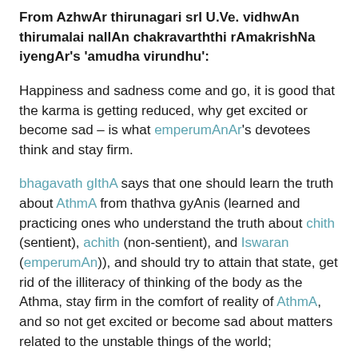From AzhwAr thirunagari srI U.Ve. vidhwAn thirumalai nallAn chakravarththi rAmakrishNa iyengAr's 'amudha virundhu':
Happiness and sadness come and go, it is good that the karma is getting reduced, why get excited or become sad – is what emperumAnAr's devotees think and stay firm.
bhagavath gIthA says that one should learn the truth about AthmA from thathva gyAnis (learned and practicing ones who understand the truth about chith (sentient), achith (non-sentient), and Iswaran (emperumAn)), and should try to attain that state, get rid of the illiteracy of thinking of the body as the Athma, stay firm in the comfort of reality of AthmA, and so not get excited or become sad about matters related to the unstable things of the world;